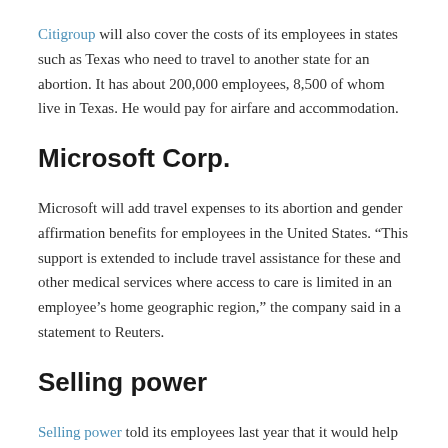Citigroup will also cover the costs of its employees in states such as Texas who need to travel to another state for an abortion. It has about 200,000 employees, 8,500 of whom live in Texas. He would pay for airfare and accommodation.
Microsoft Corp.
Microsoft will add travel expenses to its abortion and gender affirmation benefits for employees in the United States. “This support is extended to include travel assistance for these and other medical services where access to care is limited in an employee’s home geographic region,” the company said in a statement to Reuters.
Selling power
Selling power told its employees last year that it would help relocate anyone concerned about getting reproductive health